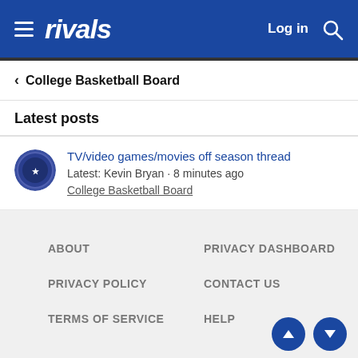rivals — Log in
< College Basketball Board
Latest posts
TV/video games/movies off season thread
Latest: Kevin Bryan · 8 minutes ago
College Basketball Board
ABOUT | PRIVACY DASHBOARD | PRIVACY POLICY | CONTACT US | TERMS OF SERVICE | HELP